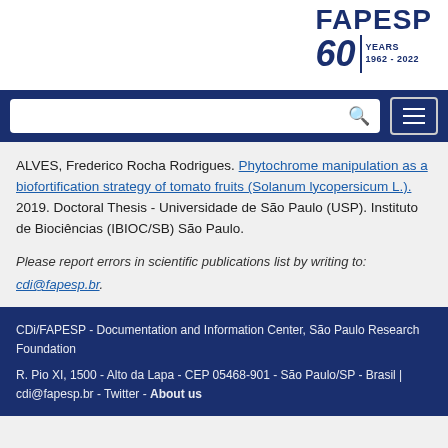[Figure (logo): FAPESP 60 Years 1962-2022 logo in navy blue]
[Figure (screenshot): Navy navigation bar with search box and hamburger menu]
ALVES, Frederico Rocha Rodrigues. Phytochrome manipulation as a biofortification strategy of tomato fruits (Solanum lycopersicum L.). 2019. Doctoral Thesis - Universidade de São Paulo (USP). Instituto de Biociências (IBIOC/SB) São Paulo.
Please report errors in scientific publications list by writing to: cdi@fapesp.br.
CDi/FAPESP - Documentation and Information Center, São Paulo Research Foundation
R. Pio XI, 1500 - Alto da Lapa - CEP 05468-901 - São Paulo/SP - Brasil | cdi@fapesp.br - Twitter - About us